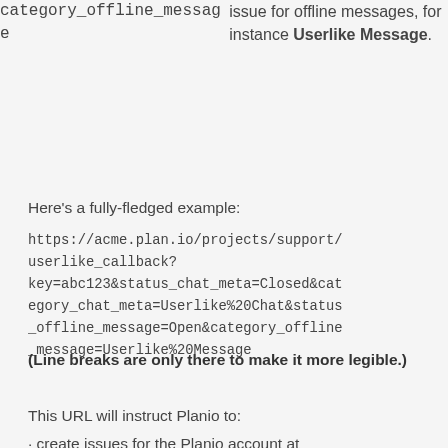|  |  |
| --- | --- |
| category_offline_message | issue for offline messages, for instance Userlike Message. |
Here's a fully-fledged example:
https://acme.plan.io/projects/support/userlike_callback?key=abc123&status_chat_meta=Closed&category_chat_meta=Userlike%20Chat&status_offline_message=Open&category_offline_message=Userlike%20Message
(Line breaks are only there to make it more legible.)
This URL will instruct Planio to:
· create issues for the Planio account at